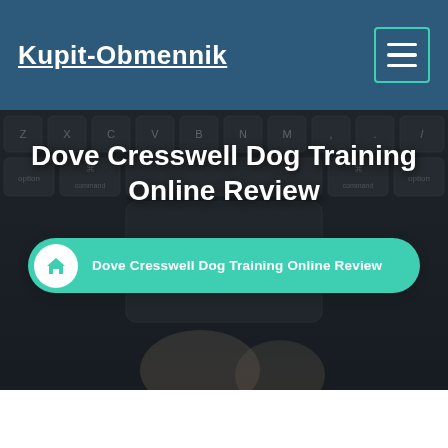Kupit-Obmennik
[Figure (screenshot): A dark keyboard background image showing a MacBook keyboard with keys including Z, X, C, V, B, N, M, option, command keys. A hand is visible near the trackpad at the bottom.]
Dove Cresswell Dog Training Online Review
Dove Cresswell Dog Training Online Review